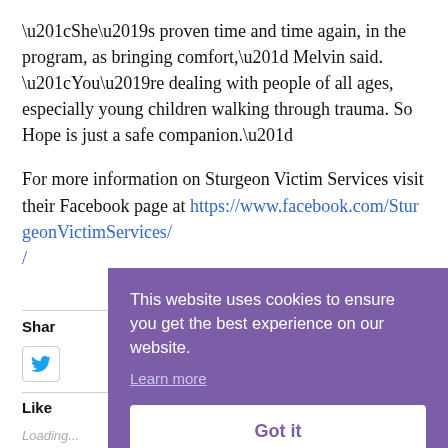“She’s proven time and time again, in the program, as bringing comfort,” Melvin said. “You’re dealing with people of all ages, especially young children walking through trauma. So Hope is just a safe companion.”
For more information on Sturgeon Victim Services visit their Facebook page at https://www.facebook.com/SturgeonVictimServices/
Share
[Figure (other): Twitter share button icon]
Like
Loading...
[Figure (screenshot): Cookie consent overlay with purple background. Text: 'This website uses cookies to ensure you get the best experience on our website.' with a 'Learn more' underlined link and a white 'Got it' button.]